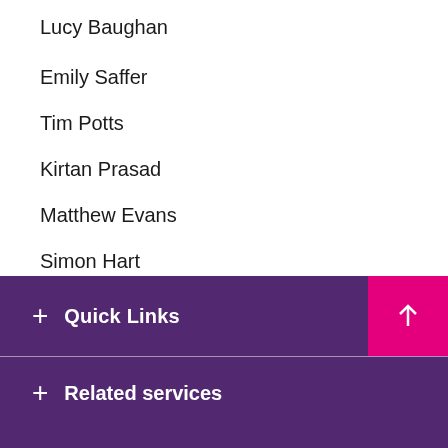Lucy Baughan
Emily Saffer
Tim Potts
Kirtan Prasad
Matthew Evans
Simon Hart
Types
Blog
Video
+ Quick Links
+ Related services